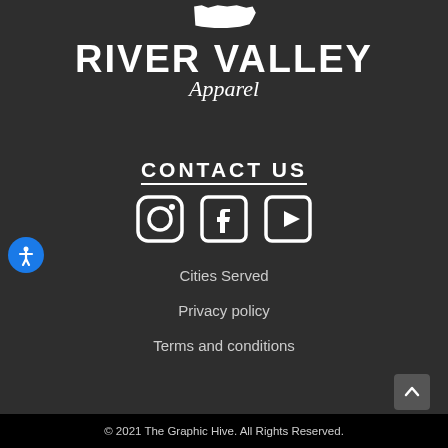[Figure (logo): River Valley Apparel logo with Pennsylvania state shape silhouette above bold 'RIVER VALLEY' text and italic 'Apparel' script below]
CONTACT US
[Figure (illustration): Social media icons: Instagram, Facebook, YouTube]
Cities Served
Privacy policy
Terms and conditions
© 2021 The Graphic Hive. All Rights Reserved.